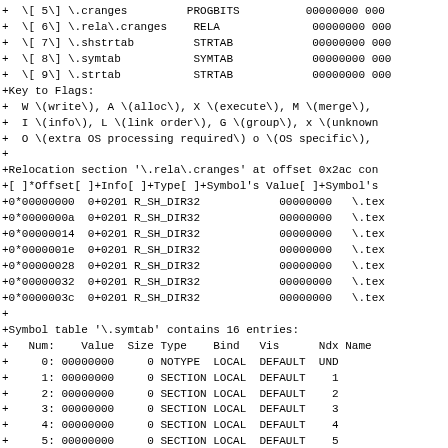+  \[ 5\] \.cranges         PROGBITS          00000000 000
+  \[ 6\] \.rela\.cranges    RELA              00000000 000
+  \[ 7\] \.shstrtab         STRTAB            00000000 000
+  \[ 8\] \.symtab           SYMTAB            00000000 000
+  \[ 9\] \.strtab           STRTAB            00000000 000
+Key to Flags:
+  W \(write\), A \(alloc\), X \(execute\), M \(merge\),
+  I \(info\), L \(link order\), G \(group\), x \(unknown
+  O \(extra OS processing required\) o \(OS specific\),
+
+Relocation section '\.rela\.cranges' at offset 0x2ac con
+[ ]*Offset[ ]+Info[ ]+Type[ ]+Symbol's Value[ ]+Symbol's
+0*00000000  0+0201 R_SH_DIR32            00000000   \.tex
+0*0000000a  0+0201 R_SH_DIR32            00000000   \.tex
+0*00000014  0+0201 R_SH_DIR32            00000000   \.tex
+0*0000001e  0+0201 R_SH_DIR32            00000000   \.tex
+0*00000028  0+0201 R_SH_DIR32            00000000   \.tex
+0*00000032  0+0201 R_SH_DIR32            00000000   \.tex
+0*0000003c  0+0201 R_SH_DIR32            00000000   \.tex
+
+Symbol table '\.symtab' contains 16 entries:
+   Num:    Value  Size Type    Bind   Vis      Ndx Name
+     0: 00000000     0 NOTYPE  LOCAL  DEFAULT  UND
+     1: 00000000     0 SECTION LOCAL  DEFAULT    1
+     2: 00000000     0 SECTION LOCAL  DEFAULT    2
+     3: 00000000     0 SECTION LOCAL  DEFAULT    3
+     4: 00000000     0 SECTION LOCAL  DEFAULT    4
+     5: 00000000     0 SECTION LOCAL  DEFAULT    5
+     6: 00000000     0 SECTION LOCAL  DEFAULT    6
+     7: 00000000     0 SECTION LOCAL  DEFAULT    7
+     8: 00000000     0 SECTION LOCAL  DEFAULT    8